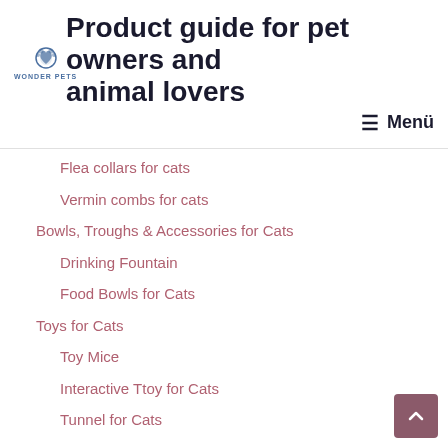[Figure (logo): Wonder Pets logo with paw print icon and text WONDER PETS]
Product guide for pet owners and animal lovers
≡ Menü
Flea collars for cats
Vermin combs for cats
Bowls, Troughs & Accessories for Cats
Drinking Fountain
Food Bowls for Cats
Toys for Cats
Toy Mice
Interactive Ttoy for Cats
Tunnel for Cats